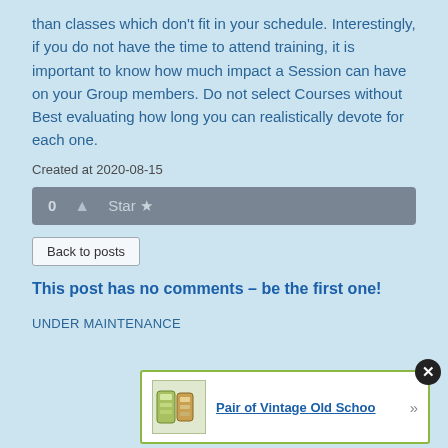than classes which don't fit in your schedule. Interestingly, if you do not have the time to attend training, it is important to know how much impact a Session can have on your Group members. Do not select Courses without Best evaluating how long you can realistically devote for each one.
Created at 2020-08-15
[Figure (screenshot): A grey vote/rating bar showing '0 (up arrow) Star (star icon)']
Back to posts
This post has no comments – be the first one!
UNDER MAINTENANCE
[Figure (screenshot): Advertisement box with a close button (X), a product image (cans/containers), and a link 'Pair of Vintage Old Schoo' with a right arrow.]